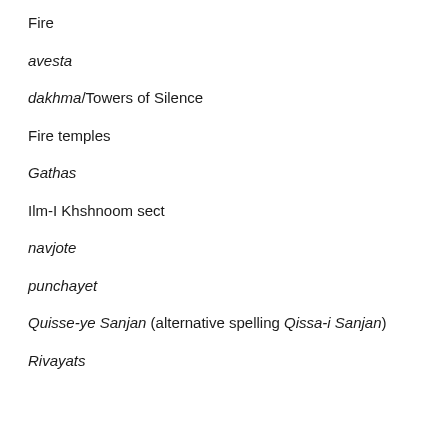Fire
avesta
dakhma/Towers of Silence
Fire temples
Gathas
Ilm-I Khshnoom sect
navjote
punchayet
Quisse-ye Sanjan (alternative spelling Qissa-i Sanjan)
Rivayats